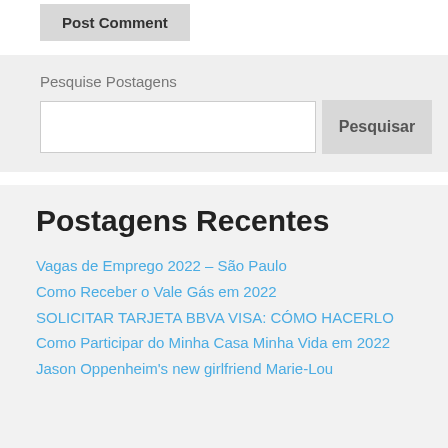Post Comment
Pesquise Postagens
Pesquisar
Postagens Recentes
Vagas de Emprego 2022 – São Paulo
Como Receber o Vale Gás em 2022
SOLICITAR TARJETA BBVA VISA: CÓMO HACERLO
Como Participar do Minha Casa Minha Vida em 2022
Jason Oppenheim's new girlfriend Marie-Lou